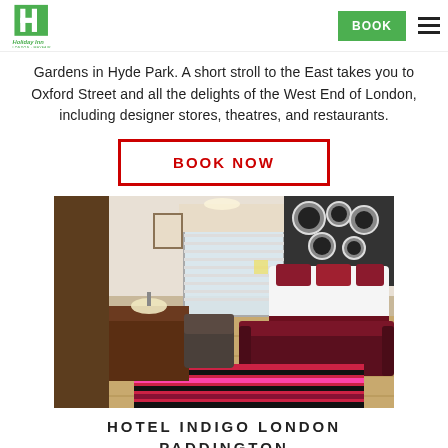Holiday Inn logo | BOOK | menu
Gardens in Hyde Park. A short stroll to the East takes you to Oxford Street and all the delights of the West End of London, including designer stores, theatres, and restaurants.
BOOK NOW
[Figure (photo): Interior of a hotel room with a large bed with red pillows, a maroon sofa at the foot of the bed, a striped rug, a desk with lamp, and decorative wall art including circular mirrors. The room has wooden floors and a window with blinds.]
HOTEL INDIGO LONDON PADDINGTON